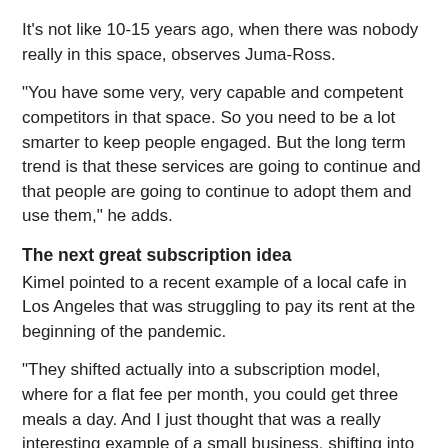It's not like 10-15 years ago, when there was nobody really in this space, observes Juma-Ross.
“You have some very, very capable and competent competitors in that space. So you need to be a lot smarter to keep people engaged. But the long term trend is that these services are going to continue and that people are going to continue to adopt them and use them,” he adds.
The next great subscription idea
Kimel pointed to a recent example of a local cafe in Los Angeles that was struggling to pay its rent at the beginning of the pandemic.
“They shifted actually into a subscription model, where for a flat fee per month, you could get three meals a day. And I just thought that was a really interesting example of a small business, shifting into a subscription mentality,” she says.
For Tai it was the discovery of multiple subscription pet sitting services, such as Mad Paws. “I’m really excited to be able to start trying them out and figuring out which platform makes the most sense, and I will definitely be a subscriber pretty soon.”
Juma-Ross thinks education is an area that makes a lot of sense. “We’ve already seen a lot of tertiary education content moved to